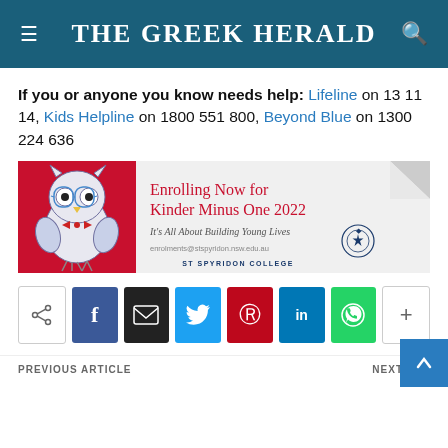THE GREEK HERALD
If you or anyone you know needs help: Lifeline on 13 11 14, Kids Helpline on 1800 551 800, Beyond Blue on 1300 224 636
[Figure (infographic): St Spyridon College advertisement banner: Enrolling Now for Kinder Minus One 2022. It's All About Building Young Lives. enrolments@stspyridon.nsw.edu.au. ST SPYRIDON COLLEGE. Features a decorated owl mascot on a red background.]
Share buttons: share, facebook, email, twitter, pinterest, linkedin, whatsapp, more
PREVIOUS ARTICLE | NEXT ARTICLE